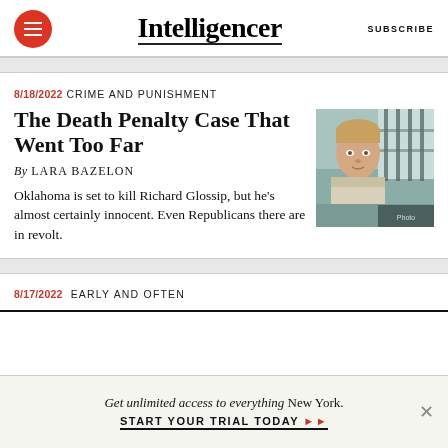Intelligencer
8/18/2022  CRIME AND PUNISHMENT
The Death Penalty Case That Went Too Far
By LARA BAZELON
Oklahoma is set to kill Richard Glossip, but he's almost certainly innocent. Even Republicans there are in revolt.
[Figure (photo): Photo of a man behind prison bars, wearing a light-colored shirt]
8/17/2022  EARLY AND OFTEN
Get unlimited access to everything New York. START YOUR TRIAL TODAY